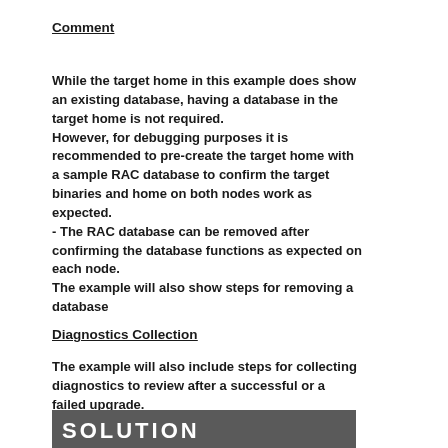Comment
While the target home in this example does show an existing database, having a database in the target home is not required.
However, for debugging purposes it is recommended to pre-create the target home with a sample RAC database to confirm the target binaries and home on both nodes work as expected.
- The RAC database can be removed after confirming the database functions as expected on each node.
The example will also show steps for removing a database
Diagnostics Collection
The example will also include steps for collecting diagnostics to review after a successful or a failed upgrade.
[Figure (other): Dark gray bar with bold white text reading SOLUTION]